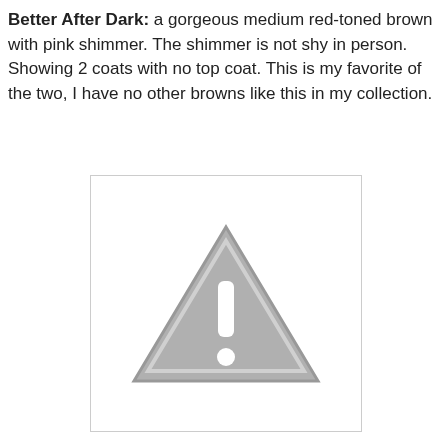Better After Dark: a gorgeous medium red-toned brown with pink shimmer. The shimmer is not shy in person. Showing 2 coats with no top coat. This is my favorite of the two, I have no other browns like this in my collection.
[Figure (other): Placeholder image with a grey warning/caution triangle icon with exclamation mark, indicating a missing or unavailable image]